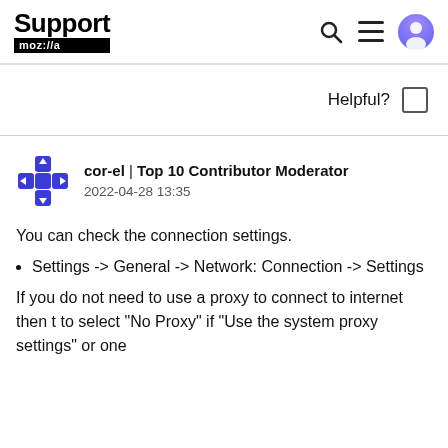Support moz://a
Helpful?
cor-el | Top 10 Contributor Moderator
2022-04-28 13:35
You can check the connection settings.
Settings -> General -> Network: Connection -> Settings
If you do not need to use a proxy to connect to internet then t to select "No Proxy" if "Use the system proxy settings" or one